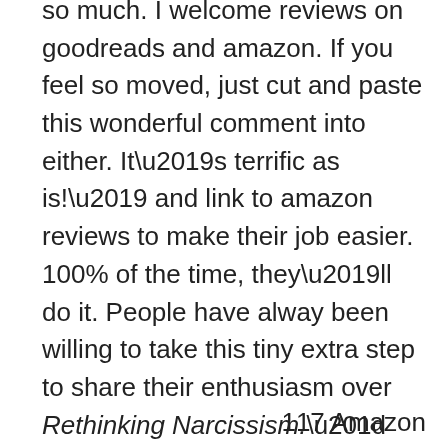so much. I welcome reviews on goodreads and amazon. If you feel so moved, just cut and paste this wonderful comment into either. It’s terrific as is!’ and link to amazon reviews to make their job easier. 100% of the time, they’ll do it. People have alway been willing to take this tiny extra step to share their enthusiasm over Rethinking Narcissism.” This tip is especially helpful because Amazon does prefer reviews from people who don’t know the author personally.
117 Amazon